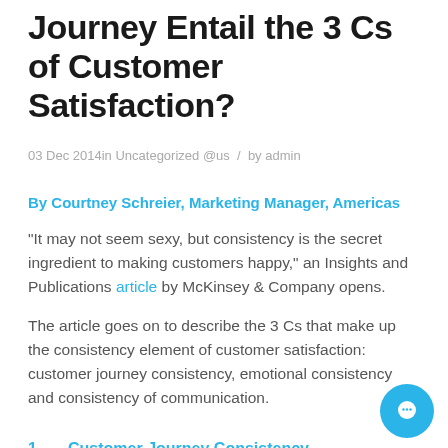Journey Entail the 3 Cs of Customer Satisfaction?
03 Dec 2014in Uncategorized @us / by admin
By Courtney Schreier, Marketing Manager, Americas
“It may not seem sexy, but consistency is the secret ingredient to making customers happy,” an Insights and Publications article by McKinsey & Company opens.
The article goes on to describe the 3 Cs that make up the consistency element of customer satisfaction: customer journey consistency, emotional consistency and consistency of communication.
1.   Customer Journey Consistency
Omnichannel consistency is important. In the digital age, customers are likely to interact with your company